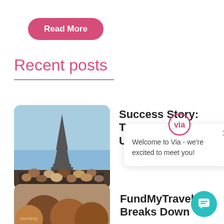[Figure (other): Pink rounded 'Read More' button]
Recent posts
[Figure (photo): Group photo of students in front of Eiffel Tower in Paris]
Success Story: Troy University
[Figure (other): Via logo popup chat widget with message: Welcome to Via - we're excited to meet you!]
[Figure (photo): Children looking down, partially visible at bottom]
FundMyTravel Breaks Down